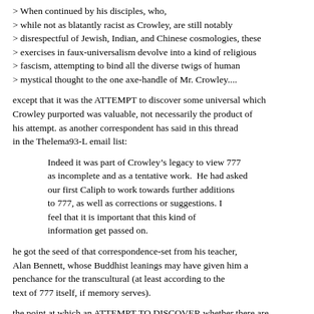> When continued by his disciples, who,
> while not as blatantly racist as Crowley, are still notably
> disrespectful of Jewish, Indian, and Chinese cosmologies, these
> exercises in faux-universalism devolve into a kind of religious
> fascism, attempting to bind all the diverse twigs of human
> mystical thought to the one axe-handle of Mr. Crowley....
except that it was the ATTEMPT to discover some universal which Crowley purported was valuable, not necessarily the product of his attempt. as another correspondent has said in this thread in the Thelema93-L email list:
Indeed it was part of Crowley’s legacy to view 777 as incomplete and as a tentative work.  He had asked our first Caliph to work towards further additions to 777, as well as corrections or suggestions. I feel that it is important that this kind of information get passed on.
he got the seed of that correspondence-set from his teacher, Alan Bennett, whose Buddhist leanings may have given him a penchance for the transcultural (at least according to the text of 777 itself, if memory serves).
the point at which an ATTEMPT TO DISCOVER whether there are any universals by hypothesis and criticism, education and discussion, becomes the CLAIM OF UNIVERSALITY is the kind of